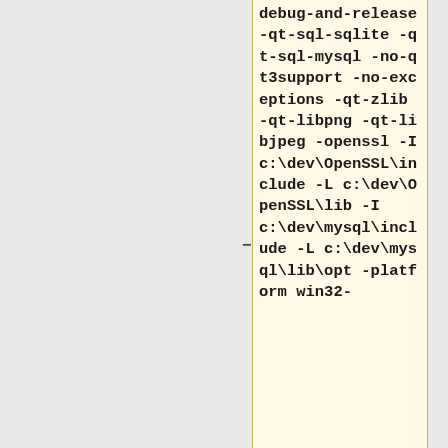debug-and-release -qt-sql-sqlite -qt-sql-mysql -no-qt3support -no-exceptions -qt-zlib -qt-libpng  -qt-libjpeg  -openssl -I c:\dev\OpenSSL\include -L c:\dev\OpenSSL\lib -I c:\dev\mysql\include -L c:\dev\mysql\lib\opt -platform win32-